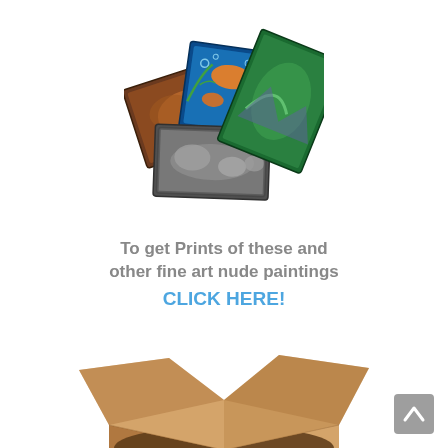[Figure (illustration): Stack of fine art paintings/prints fanned out showing three canvases: one with a brown/orange abstract figure, one with goldfish on blue background, and one with a grey sculptural reclining nude figure]
To get Prints of these and other fine art nude paintings CLICK HERE!
[Figure (photo): Open cardboard shipping box photographed from above, showing the open flaps and empty interior, on white background]
[Figure (illustration): Back to top arrow button - grey square with upward pointing chevron/arrow]